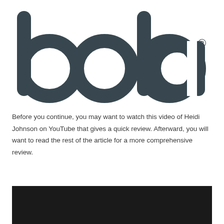[Figure (logo): Boba brand logo in dark slate color with registered trademark symbol]
Before you continue, you may want to watch this video of Heidi Johnson on YouTube that gives a quick review. Afterward, you will want to read the rest of the article for a more comprehensive review.
[Figure (screenshot): Black video player rectangle (YouTube embed, content not visible)]